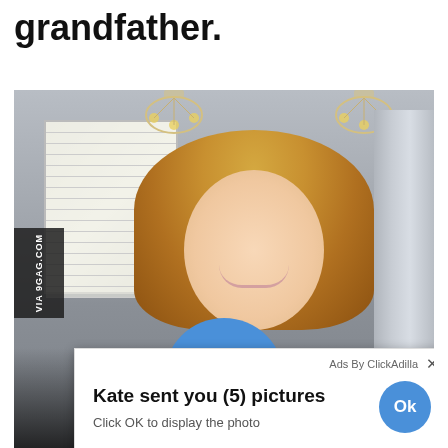grandfather.
[Figure (photo): A smiling blonde woman in an indoor kitchen setting with chandeliers and a window with blinds visible in the background, and a stainless steel refrigerator to the right. A browser ad popup overlay is visible in the lower portion: 'Ads By ClickAdilla X / Kate sent you (5) pictures / Click OK to display the photo' with an Ok button. A large blue Ok button circle appears at the bottom. A 9GAG.COM watermark is on the left side.]
Ads By ClickAdilla ×
Kate sent you (5) pictures
Click OK to display the photo
VIA 9GAG.COM